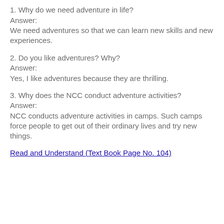1. Why do we need adventure in life?
Answer:
We need adventures so that we can learn new skills and new experiences.
2. Do you like adventures? Why?
Answer:
Yes, I like adventures because they are thrilling.
3. Why does the NCC conduct adventure activities?
Answer:
NCC conducts adventure activities in camps. Such camps force people to get out of their ordinary lives and try new things.
Read and Understand (Text Book Page No. 104)